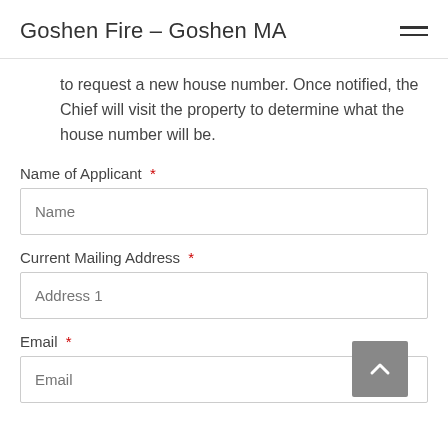Goshen Fire – Goshen MA
to request a new house number. Once notified, the Chief will visit the property to determine what the house number will be.
Name of Applicant *
Current Mailing Address *
Email *